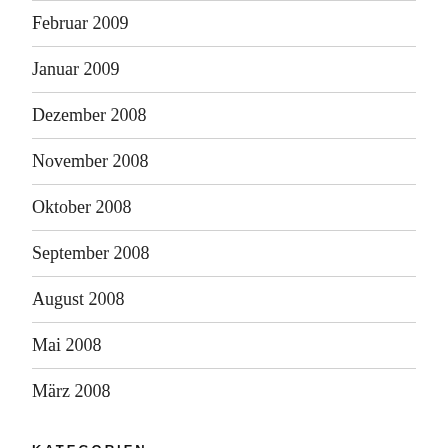Februar 2009
Januar 2009
Dezember 2008
November 2008
Oktober 2008
September 2008
August 2008
Mai 2008
März 2008
KATEGORIEN